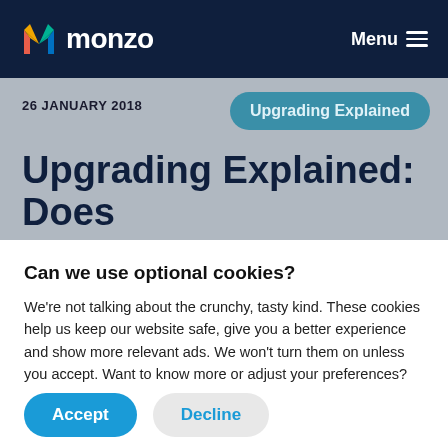monzo  Menu
26 JANUARY 2018
Upgrading Explained
Upgrading Explained: Does
Can we use optional cookies?
We're not talking about the crunchy, tasty kind. These cookies help us keep our website safe, give you a better experience and show more relevant ads. We won't turn them on unless you accept. Want to know more or adjust your preferences? Here's our cookie notice.
Accept
Decline